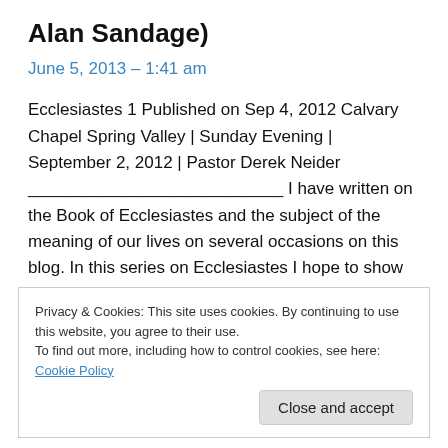Alan Sandage)
June 5, 2013 – 1:41 am
Ecclesiastes 1 Published on Sep 4, 2012 Calvary Chapel Spring Valley | Sunday Evening | September 2, 2012 | Pastor Derek Neider ___________________________ I have written on the Book of Ecclesiastes and the subject of the meaning of our lives on several occasions on this blog. In this series on Ecclesiastes I hope to show how […]
Privacy & Cookies: This site uses cookies. By continuing to use this website, you agree to their use.
To find out more, including how to control cookies, see here: Cookie Policy
Close and accept